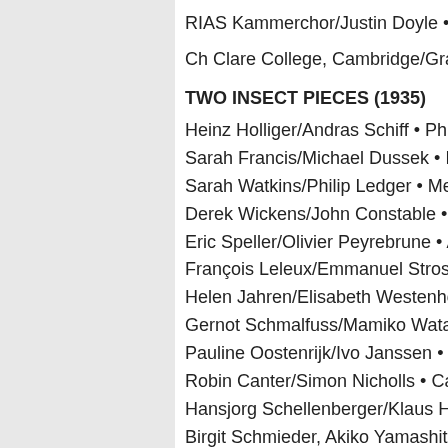RIAS Kammerchor/Justin Doyle • Harmo
Ch Clare College, Cambridge/Graham R
TWO INSECT PIECES (1935)
Heinz Holliger/Andras Schiff • Philips 43
Sarah Francis/Michael Dussek • Hyperic
Sarah Watkins/Philip Ledger • Meridian C
Derek Wickens/John Constable • Unicor
Eric Speller/Olivier Peyrebrune • Ambroi
François Leleux/Emmanuel Strosser • H
Helen Jahren/Elisabeth Westenholz • Bl
Gernot Schmalfuss/Mamiko Watanabe •
Pauline Oostenrijk/Ivo Janssen • Canal C
Robin Canter/Simon Nicholls • Carlton 3
Hansjorg Schellenberger/Klaus Hellwig •
Birgit Schmieder, Akiko Yamashita • Aud